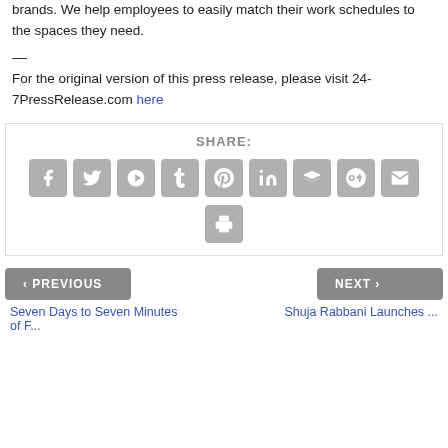brands. We help employees to easily match their work schedules to the spaces they need.
—
For the original version of this press release, please visit 24-7PressRelease.com here
[Figure (infographic): Share bar with social media icons: Facebook, Twitter, Google+, Tumblr, Pinterest, LinkedIn, Buffer, StumbleUpon, Email, Print]
< PREVIOUS
NEXT >
Seven Days to Seven Minutes of F...
Shuja Rabbani Launches ...